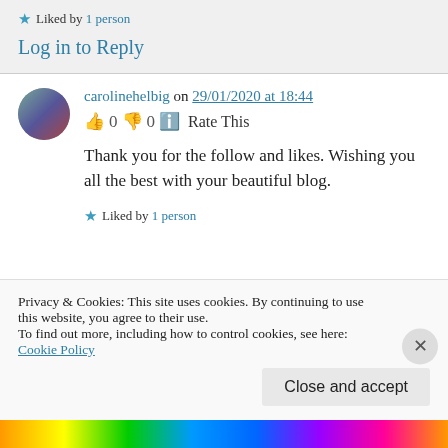★ Liked by 1 person
Log in to Reply
carolinehelbig on 29/01/2020 at 18:44
👍 0 👎 0 ℹ Rate This
Thank you for the follow and likes. Wishing you all the best with your beautiful blog.
★ Liked by 1 person
Privacy & Cookies: This site uses cookies. By continuing to use this website, you agree to their use.
To find out more, including how to control cookies, see here: Cookie Policy
Close and accept